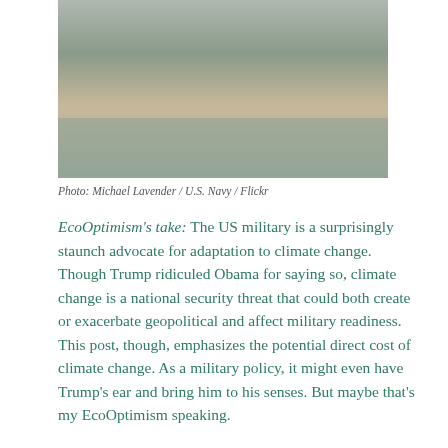[Figure (photo): Military Humvee driving through floodwaters with soldiers in the background]
Photo: Michael Lavender / U.S. Navy / Flickr
EcoOptimism's take: The US military is a surprisingly staunch advocate for adaptation to climate change. Though Trump ridiculed Obama for saying so, climate change is a national security threat that could both create or exacerbate geopolitical and affect military readiness. This post, though, emphasizes the potential direct cost of climate change. As a military policy, it might even have Trump's ear and bring him to his senses. But maybe that's my EcoOptimism speaking.
China is going to stop accepting plastic for recycling, so